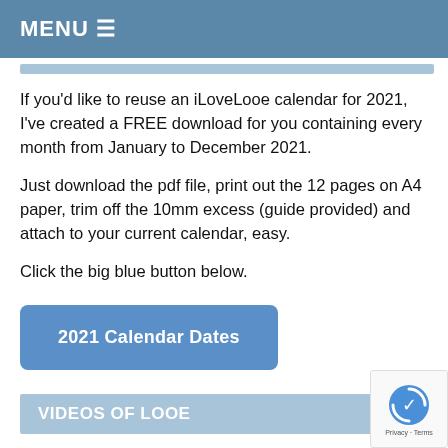MENU ☰
If you'd like to reuse an iLoveLooe calendar for 2021, I've created a FREE download for you containing every month from January to December 2021.
Just download the pdf file, print out the 12 pages on A4 paper, trim off the 10mm excess (guide provided) and attach to your current calendar, easy.
Click the big blue button below.
[Figure (other): Blue button labeled '2021 Calendar Dates']
VIDEOS OF LOOE
I have a few videos of Looe up on my iLoveLooe YouTube channel... have you seen them? There's a one about the flooding